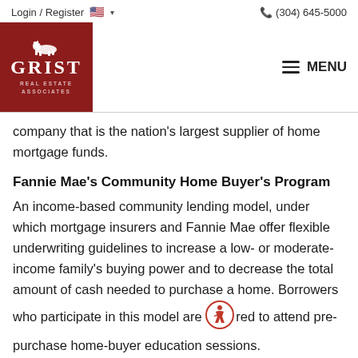Login / Register   (304) 645-5000
[Figure (logo): Grist Real Estate Associates logo — red background with white horse silhouette and white text]
company that is the nation's largest supplier of home mortgage funds.
Fannie Mae's Community Home Buyer's Program
An income-based community lending model, under which mortgage insurers and Fannie Mae offer flexible underwriting guidelines to increase a low- or moderate-income family's buying power and to decrease the total amount of cash needed to purchase a home. Borrowers who participate in this model are required to attend pre-purchase home-buyer education sessions.